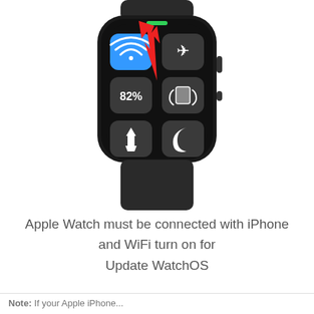[Figure (screenshot): Apple Watch showing Control Center with WiFi button highlighted in blue, a red arrow pointing to the WiFi button, 82% battery, airplane mode, vibrate, flashlight, and do not disturb buttons. Watch has a black sport band.]
Apple Watch must be connected with iPhone and WiFi turn on for Update WatchOS
Note: If your Apple iPhone...